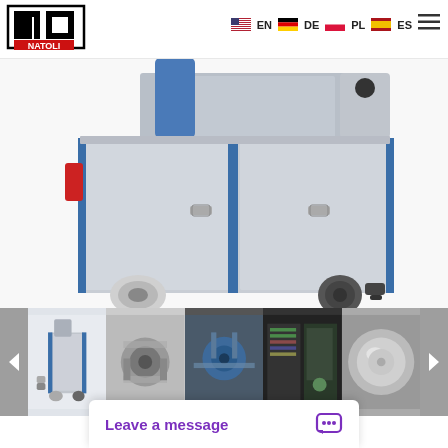NATOLI — EN DE PL ES
[Figure (photo): Large industrial tablet press machine with stainless steel cabinet panels, blue accent trim, and caster wheels at the bottom. The machine is photographed on a white background.]
[Figure (photo): Thumbnail strip showing five images of the tablet press machine from different angles and close-up detail shots.]
Leave a message